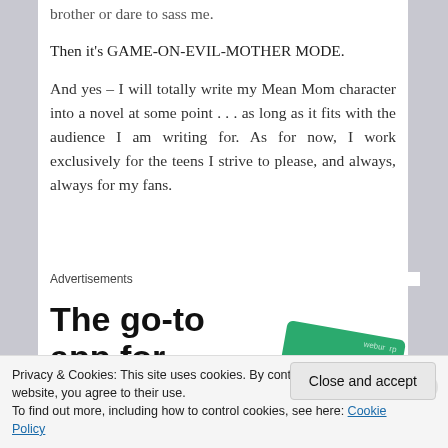brother or dare to sass me.
Then it's GAME-ON-EVIL-MOTHER MODE.
And yes – I will totally write my Mean Mom character into a novel at some point . . . as long as it fits with the audience I am writing for. As for now, I work exclusively for the teens I strive to please, and always, always for my fans.
Advertisements
[Figure (infographic): Advertisement for a podcast app showing bold text 'The go-to app for podcast lovers.' with two overlapping cards (black with grid and yellow dot, green with cursive text 'On')]
Privacy & Cookies: This site uses cookies. By continuing to use this website, you agree to their use.
To find out more, including how to control cookies, see here: Cookie Policy
Close and accept